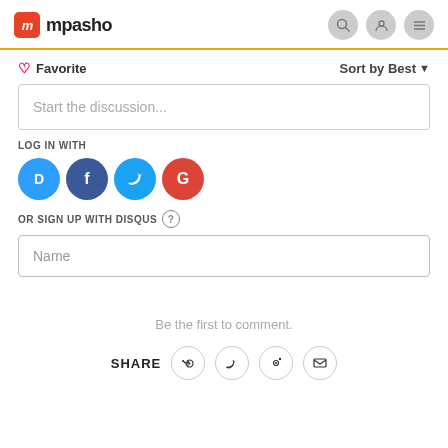mpasho
Favorite   Sort by Best
Start the discussion...
LOG IN WITH
[Figure (infographic): Social login icons: Disqus (blue), Facebook (dark blue), Twitter (light blue), Google (red)]
OR SIGN UP WITH DISQUS
Name
Be the first to comment.
SHARE
[Figure (infographic): Share icons: Facebook, Twitter, Pinterest, Email]